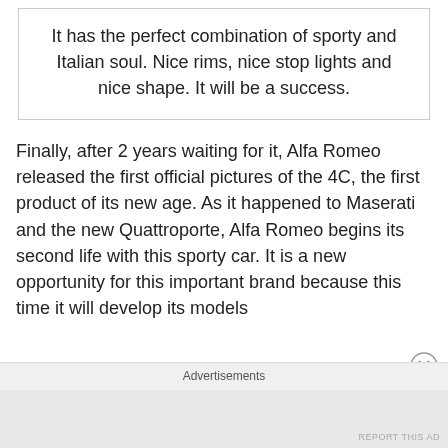It has the perfect combination of sporty and Italian soul. Nice rims, nice stop lights and nice shape. It will be a success.
Finally, after 2 years waiting for it, Alfa Romeo released the first official pictures of the 4C, the first product of its new age. As it happened to Maserati and the new Quattroporte, Alfa Romeo begins its second life with this sporty car. It is a new opportunity for this important brand because this time it will develop its models
Advertisements